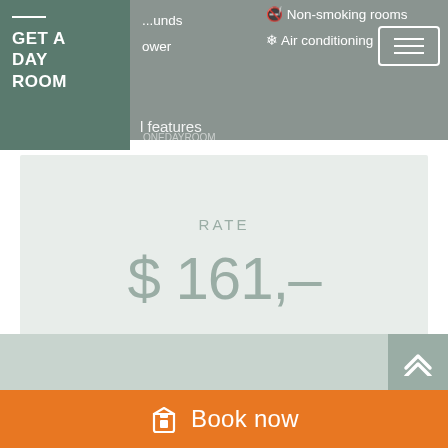[Figure (screenshot): Hotel booking website screenshot showing a 'Get a Day Room' badge, room amenities including Non-smoking rooms and Air conditioning, a rate of $161, a 'Check availability' input field with 'When?' placeholder, an orange arrow button, and a 'Book now' bar at the bottom.]
Non-smoking rooms / Air conditioning
GET A DAY ROOM
features
RATE
$ 161,-
Check availability:
When?
Book now